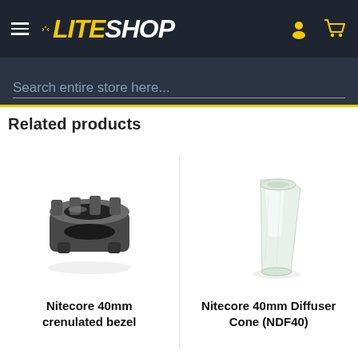LITESHOP
Search entire store here...
Related products
[Figure (photo): Nitecore 40mm crenulated bezel - dark metallic ring-shaped flashlight bezel accessory]
Nitecore 40mm crenulated bezel
[Figure (photo): Nitecore 40mm Diffuser Cone (NDF40) - transparent tapered cone-shaped diffuser accessory]
Nitecore 40mm Diffuser Cone (NDF40)